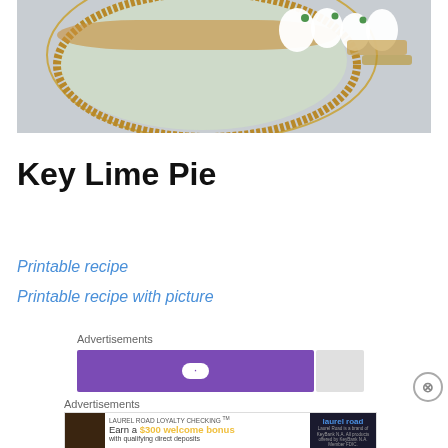[Figure (photo): Top-down photo of a Key Lime Pie on a plate with gold rim, showing graham cracker crust and whipped cream swirls on top, partially sliced]
Key Lime Pie
Printable recipe
Printable recipe with picture
Advertisements
[Figure (other): Purple advertisement banner]
Advertisements
[Figure (other): Laurel Road Loyalty Checking advertisement: Earn a $300 welcome bonus with qualifying direct deposits. Laurel Road is a brand of KeyBank N.A. All products offered by KeyBank N.A. Member FDIC.]